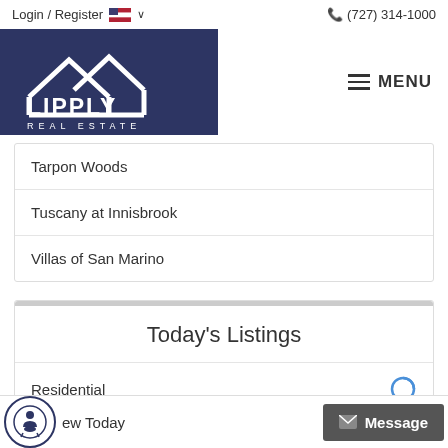Login / Register  🇺🇸 ∨    📞 (727) 314-1000
[Figure (logo): Lipply Real Estate logo — white house/roof icon and text 'LIPPLY REAL ESTATE' on dark navy background]
≡ MENU
Tarpon Woods
Tuscany at Innisbrook
Villas of San Marino
Today's Listings
Residential
New Today
Message